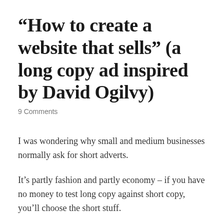“How to create a website that sells” (a long copy ad inspired by David Ogilvy)
9 Comments
I was wondering why small and medium businesses normally ask for short adverts.
It’s partly fashion and partly economy – if you have no money to test long copy against short copy, you’ll choose the short stuff.